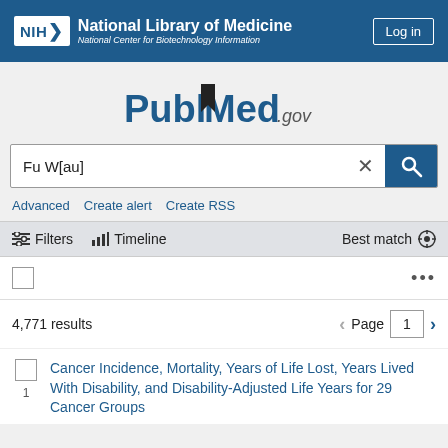NIH National Library of Medicine National Center for Biotechnology Information | Log in
[Figure (logo): PubMed.gov logo with bookmark icon]
Fu W[au]
Advanced   Create alert   Create RSS
Filters   Timeline   Best match
4,771 results   Page 1
Cancer Incidence, Mortality, Years of Life Lost, Years Lived With Disability, and Disability-Adjusted Life Years for 29 Cancer Groups